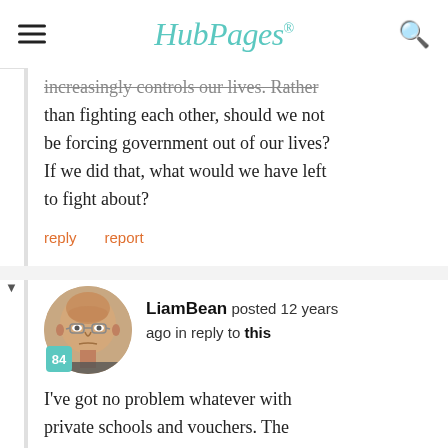HubPages
increasingly controls our lives. Rather than fighting each other, should we not be forcing government out of our lives? If we did that, what would we have left to fight about?
reply   report
[Figure (photo): Avatar photo of user LiamBean, an older bald man with glasses, with a teal badge showing 84]
LiamBean posted 12 years ago in reply to this
I've got no problem whatever with private schools and vouchers. The public school system has been in terrible shape for years, more like